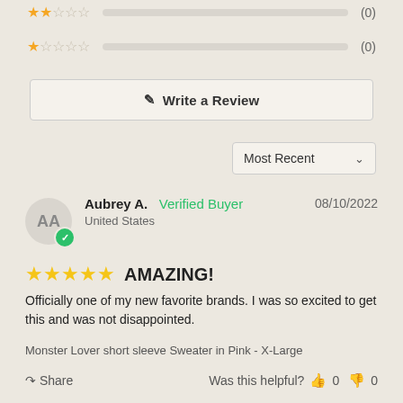[Figure (other): Two star rating rows with empty star icons and (0) counts]
Write a Review
Most Recent
Aubrey A. Verified Buyer 08/10/2022 United States
★★★★★ AMAZING!
Officially one of my new favorite brands. I was so excited to get this and was not disappointed.
Monster Lover short sleeve Sweater in Pink - X-Large
Share Was this helpful? 0 0